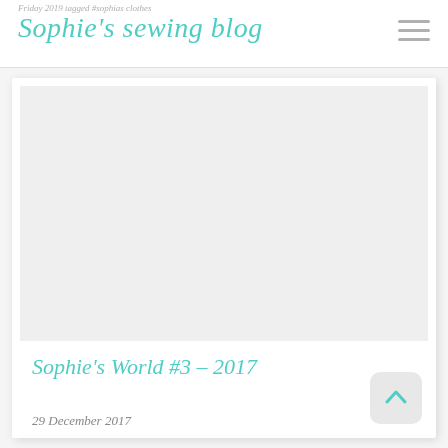Sophie's sewing blog
Friday 2019 tagged #sophias clothes
Sophie's World #3 – 2017
29 December 2017